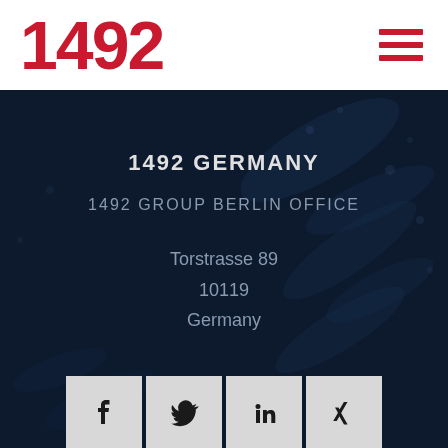1492
1492 GERMANY
1492 GROUP BERLIN OFFICE
Torstrasse 89
10119
Germany
[Figure (infographic): Four social media icon buttons: Facebook, Twitter, LinkedIn, Xing]